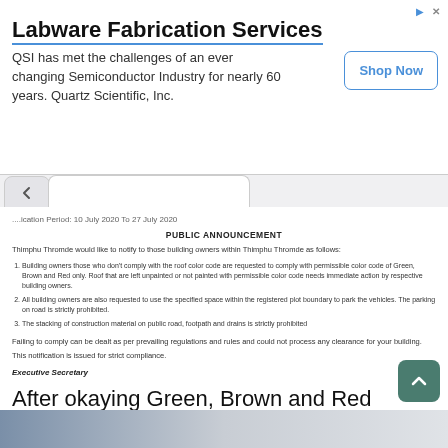[Figure (screenshot): Advertisement banner for Labware Fabrication Services by Quartz Scientific Inc. with a Shop Now button]
Labware Fabrication Services
QSI has met the challenges of an ever changing Semiconductor Industry for nearly 60 years. Quartz Scientific, Inc.
Notification Period: 10 July 2020 To 27 July 2020
PUBLIC ANNOUNCEMENT
Thimphu Thromde would like to notify to those building owners within Thimphu Thromde as follows:
Building owners those who don't comply with the roof color code are requested to comply with permissible color code of Green, Brown and Red only. Roof that are left unpainted or not painted with permissible color code needs immediate action by respective building owners.
All building owners are also requested to use the specified space within the registered plot boundary to park the vehicles. The parking on road is strictly prohibited.
The stacking of construction material on public road, footpath and drains is strictly prohibited
Failing to comply can be dealt as per prevailing regulations and rules and could not process any clearance for your building.
This notification is issued for strict compliance.
Executive Secretary
After okaying Green, Brown and Red Colour roof colours in 2020 Thimphu Thromde now says only Green colour and Nu 50,000 fine for the rest
6 days ago